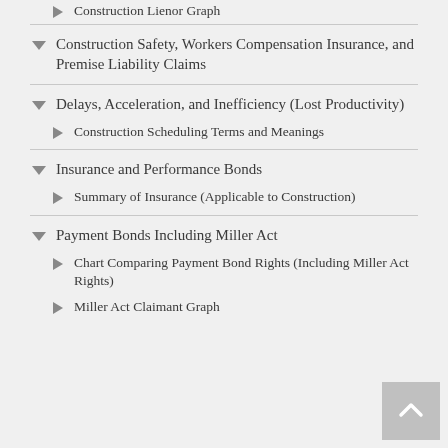Construction Lienor Graph
Construction Safety, Workers Compensation Insurance, and Premise Liability Claims
Delays, Acceleration, and Inefficiency (Lost Productivity)
Construction Scheduling Terms and Meanings
Insurance and Performance Bonds
Summary of Insurance (Applicable to Construction)
Payment Bonds Including Miller Act
Chart Comparing Payment Bond Rights (Including Miller Act Rights)
Miller Act Claimant Graph